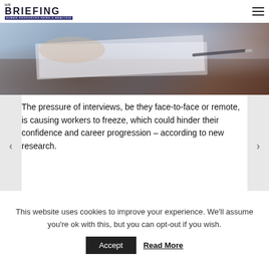HR BRIEFING — HUMAN RESOURCES NEWS & ANALYSIS
[Figure (photo): Close-up photo of hands reviewing documents on a desk, blurred background with a pen visible]
The pressure of interviews, be they face-to-face or remote, is causing workers to freeze, which could hinder their confidence and career progression – according to new research.
This website uses cookies to improve your experience. We'll assume you're ok with this, but you can opt-out if you wish.
Accept   Read More